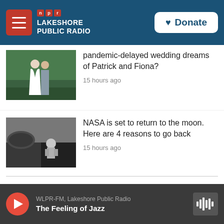[Figure (screenshot): NPR Lakeshore Public Radio app header with hamburger menu button and Donate button]
[Figure (photo): Wedding couple standing outdoors on grass, bride in white dress, groom in grey suit]
pandemic-delayed wedding dreams of Patrick and Fiona?
15 hours ago
[Figure (photo): Astronaut on the moon surface in black and white photo]
NASA is set to return to the moon. Here are 4 reasons to go back
15 hours ago
WLPR-FM, Lakeshore Public Radio
The Feeling of Jazz